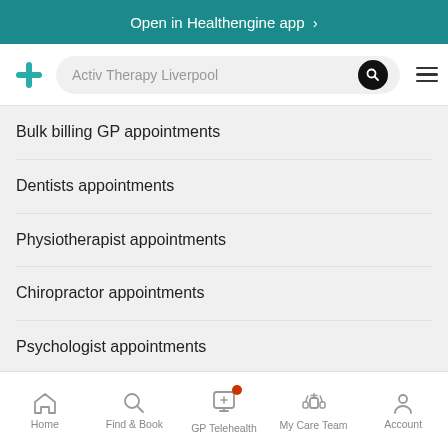Open in Healthengine app >
[Figure (screenshot): Healthengine app navigation bar with logo, search field showing 'Activ Therapy Liverpool', search button, and hamburger menu]
Bulk billing GP appointments
Dentists appointments
Physiotherapist appointments
Chiropractor appointments
Psychologist appointments
List your appointments
Home   Find & Book   GP Telehealth   My Care Team   Account